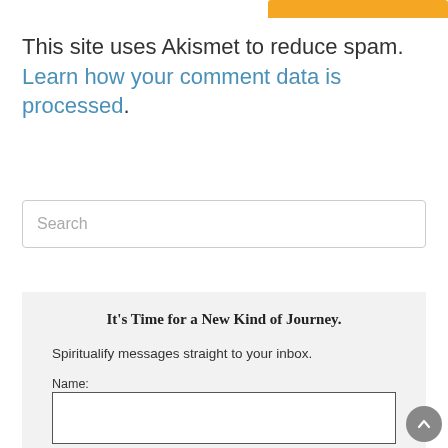This site uses Akismet to reduce spam. Learn how your comment data is processed.
Search
It's Time for a New Kind of Journey.
Spiritualify messages straight to your inbox.
Name:
Email: